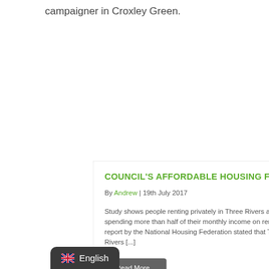campaigner in Croxley Green.
COUNCIL'S AFFORDABLE HOUSING FAIL
By Andrew | 19th July 2017
Study shows people renting privately in Three Rivers are spending more than half of their monthly income on rent.  A 2017 report by the National Housing Federation stated that Three Rivers [...]
Read More...
English